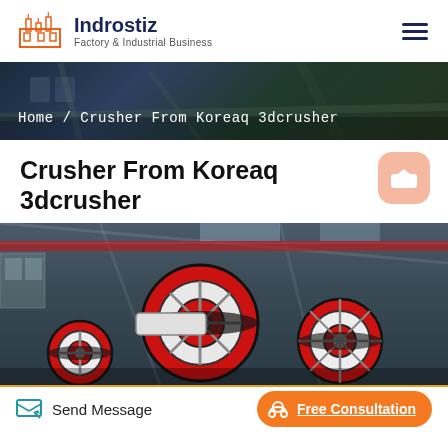Indrostiz – Factory & Industrial Business
[Figure (photo): Dark banner background showing industrial crusher machinery at a quarry site]
Home / Crusher From Koreaq 3dcrusher
Crusher From Koreaq 3dcrusher
[Figure (photo): Industrial factory interior showing large red and black crusher machinery with belts and wheels]
Send Message | Free Consultation